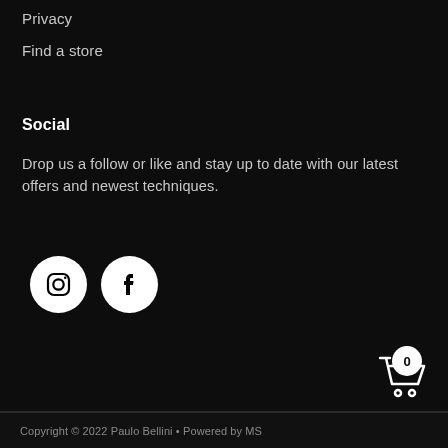Privacy
Find a store
Social
Drop us a follow or like and stay up to date with our latest offers and newest techniques.
[Figure (illustration): Instagram and Facebook social media icons as white circles with black logos]
[Figure (illustration): Shopping cart icon with badge showing 0]
Copyright © 2022 Paulo Bellini • Powered by MS